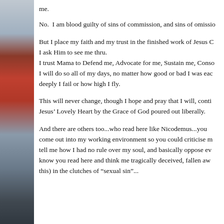[Figure (photo): Left side decorative image strip showing partial view of a red patterned fabric or object and birds/sky in background]
me.
No.  I am blood guilty of sins of commission, and sins of omissio...
But I place my faith and my trust in the finished work of Jesus C... I ask Him to see me thru.
I trust Mama to Defend me, Advocate for me, Sustain me, Conso...
I will do so all of my days, no matter how good or bad I was eac...
deeply I fail or how high I fly.
This will never change, though I hope and pray that I will, conti...
Jesus' Lovely Heart by the Grace of God poured out liberally.
And there are others too...who read here like Nicodemus...you...
come out into my working environment so you could criticise m...
tell me how I had no rule over my soul, and basically oppose ev...
know you read here and think me tragically deceived, fallen aw...
this) in the clutches of “sexual sin”...